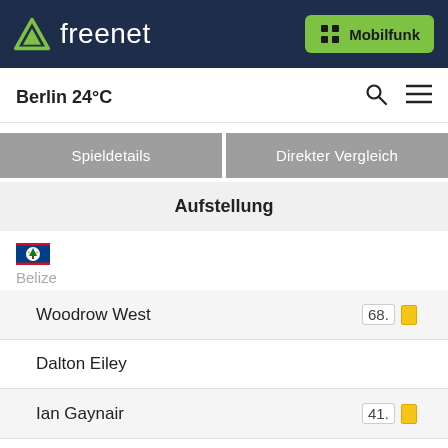freenet | Mobilfunk
Berlin 24°C
Spieldetails | Direkter Vergleich
Aufstellung
[Figure (illustration): Belize flag icon]
| Player | Minute | Card |
| --- | --- | --- |
| Woodrow West | 68. | yellow |
| Dalton Eiley |  |  |
| Ian Gaynair | 41. | yellow |
| Trevor Lennon |  |  |
| Elroy Smith |  |  |